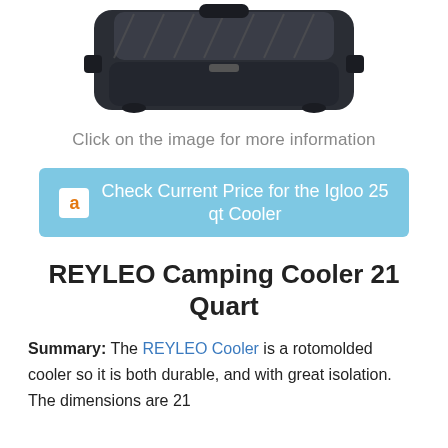[Figure (photo): Product photo of a dark-colored Igloo 25 qt cooler shown from above/angle, with diamond-plate pattern on lid, partially cropped at top of page]
Click on the image for more information
a  Check Current Price for the Igloo 25 qt Cooler
REYLEO Camping Cooler 21 Quart
Summary: The REYLEO Cooler is a rotomolded cooler so it is both durable, and with great isolation. The dimensions are 21